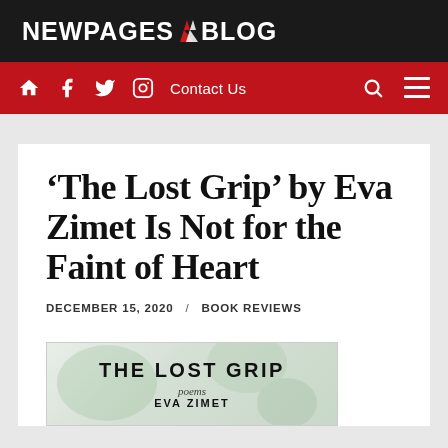NEWPAGES BLOG
Home Facebook Twitter Instagram Contact Us Search Menu
‘The Lost Grip’ by Eva Zimet Is Not for the Faint of Heart
DECEMBER 15, 2020 / BOOK REVIEWS
[Figure (illustration): Book cover of The Lost Grip by Eva Zimet, showing the title in large text, the word 'poems' in italic, and the author name EVA ZIMET, with a decorative illustrated background]